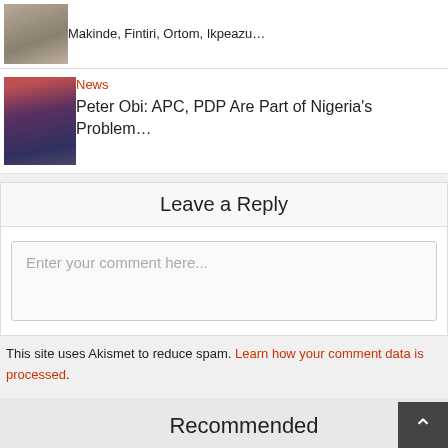Makinde, Fintiri, Ortom, Ikpeazu...
News
Peter Obi: APC, PDP Are Part of Nigeria's Problem...
Leave a Reply
Enter your comment here...
This site uses Akismet to reduce spam. Learn how your comment data is processed.
Recommended